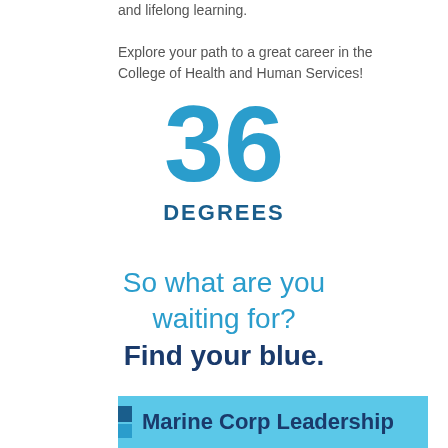and lifelong learning.

Explore your path to a great career in the College of Health and Human Services!
[Figure (infographic): Large teal number '36' with bold dark blue 'DEGREES' label beneath it, centered on white background]
So what are you waiting for? Find your blue.
Marine Corp Leadership